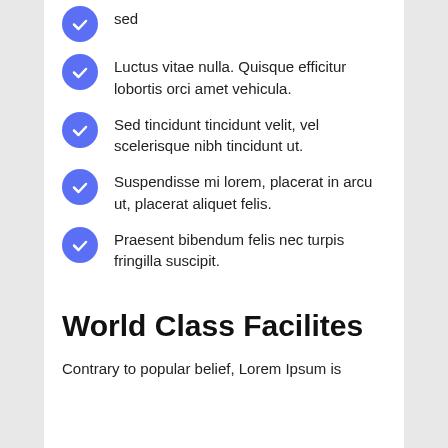sed
Luctus vitae nulla. Quisque efficitur lobortis orci amet vehicula.
Sed tincidunt tincidunt velit, vel scelerisque nibh tincidunt ut.
Suspendisse mi lorem, placerat in arcu ut, placerat aliquet felis.
Praesent bibendum felis nec turpis fringilla suscipit.
World Class Facilites
Contrary to popular belief, Lorem Ipsum is